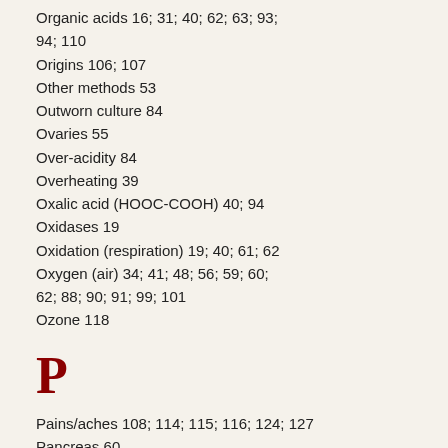Organic acids 16; 31; 40; 62; 63; 93; 94; 110
Origins 106; 107
Other methods 53
Outworn culture 84
Ovaries 55
Over-acidity 84
Overheating 39
Oxalic acid (HOOC-COOH) 40; 94
Oxidases 19
Oxidation (respiration) 19; 40; 61; 62
Oxygen (air) 34; 41; 48; 56; 59; 60; 62; 88; 90; 91; 99; 101
Ozone 118
P
Pains/aches 108; 114; 115; 116; 124; 127
Pancreas 60
Paper handkerchief 35; 99
Paper towel 16; 35
Paracelsus 149